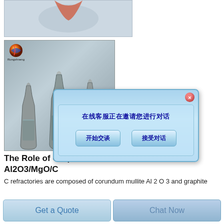[Figure (photo): Partial top image strip showing a product photo clipped at the top of the page]
[Figure (photo): Photo of three gray graphite powder-filled bottle/flask-shaped containers on a light background with Rongsheneng logo in top left corner. A popup dialog overlay shows Chinese text '在线客服正在邀请您进行对话' with two buttons '开始交谈' and '接受对话'.]
The Role of Graphite in Refractories such as Al2O3/MgO/C
C refractories are composed of corundum mullite Al 2 O 3 and graphite
Get a Quote
Chat Now